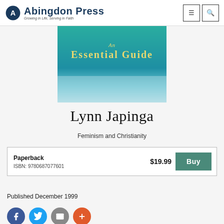Abingdon Press — Growing in Life, Serving in Faith
[Figure (photo): Book cover showing 'An Essential Guide' text on a teal/blue gradient background]
Lynn Japinga
Feminism and Christianity
| Format | Price | Action |
| --- | --- | --- |
| Paperback
ISBN: 9780687077601 | $19.99 | Buy |
Published December 1999